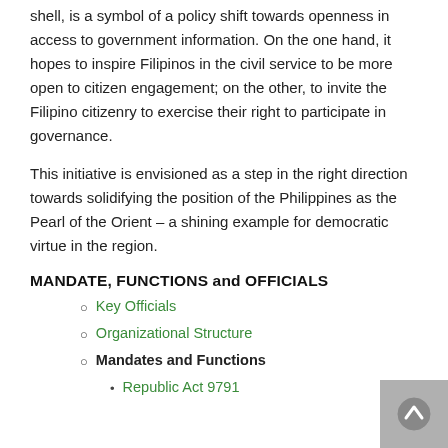shell, is a symbol of a policy shift towards openness in access to government information. On the one hand, it hopes to inspire Filipinos in the civil service to be more open to citizen engagement; on the other, to invite the Filipino citizenry to exercise their right to participate in governance.
This initiative is envisioned as a step in the right direction towards solidifying the position of the Philippines as the Pearl of the Orient – a shining example for democratic virtue in the region.
MANDATE, FUNCTIONS and OFFICIALS
Key Officials
Organizational Structure
Mandates and Functions
Republic Act 9791